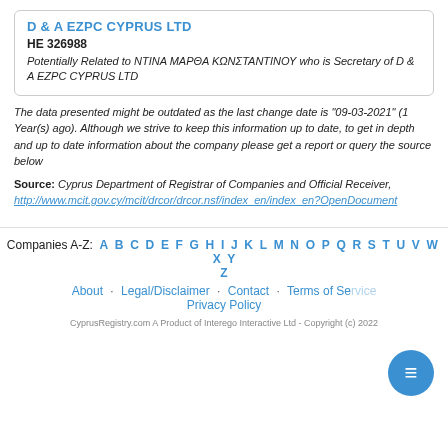D & A EZPC CYPRUS LTD
HE 326988
Potentially Related to ΝΤΙΝΑ ΜΑΡΘΑ ΚΩΝΣΤΑΝΤΙΝΟΥ who is Secretary of D & A EZPC CYPRUS LTD
The data presented might be outdated as the last change date is "09-03-2021" (1 Year(s) ago). Although we strive to keep this information up to date, to get in depth and up to date information about the company please get a report or query the source below
Source: Cyprus Department of Registrar of Companies and Official Receiver, http://www.mcit.gov.cy/mcit/drcor/drcor.nsf/index_en/index_en?OpenDocument
Companies A-Z: A B C D E F G H I J K L M N O P Q R S T U V W X Y Z
About · Legal/Disclaimer · Contact · Terms of Service · Privacy Policy
CyprusRegistry.com A Product of Interego Interactive Ltd - Copyright (c) 2022